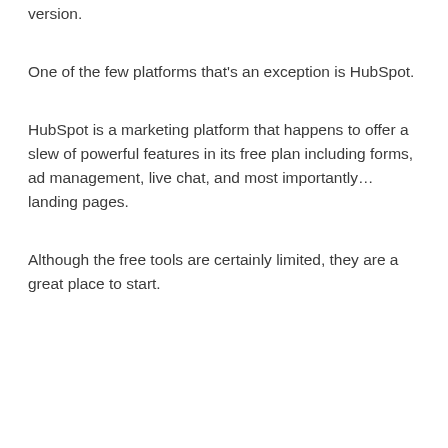version.
One of the few platforms that's an exception is HubSpot.
HubSpot is a marketing platform that happens to offer a slew of powerful features in its free plan including forms, ad management, live chat, and most importantly… landing pages.
Although the free tools are certainly limited, they are a great place to start.